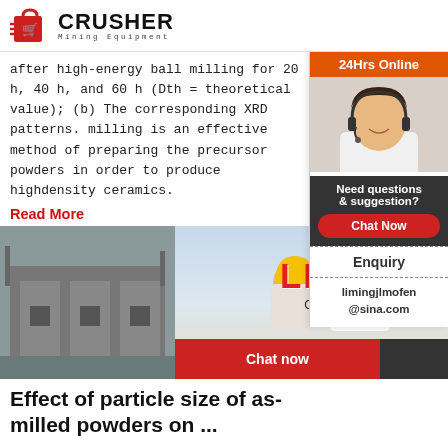[Figure (logo): Crusher Mining Equipment logo with red shopping cart icon and bold CRUSHER text]
after high-energy ball milling for 20 h, 40 h, and 60 h (Dth = theoretical value); (b) The corresponding XRD patterns. milling is an effective method of preparing the precursor powders in order to produce highdensity ceramics.
Read More
[Figure (photo): Industrial facility on left, workers in yellow hard hats in center with LIVE CHAT overlay and Click for a Free Consultation text, woman with headset on right. Chat now and Chat later buttons at bottom.]
Effect of particle size of as-milled powders on ...
Yttrium iron garnet ferrite using the chosen stoichiometry (Y 3)(Mn x Al 0.8-x Fe 4.2)O 12 with x = 0.1 and milling powder sizes were prepared through ball milling various milling times to study the effect of powder reduction on the resulting microstructural and magnetic